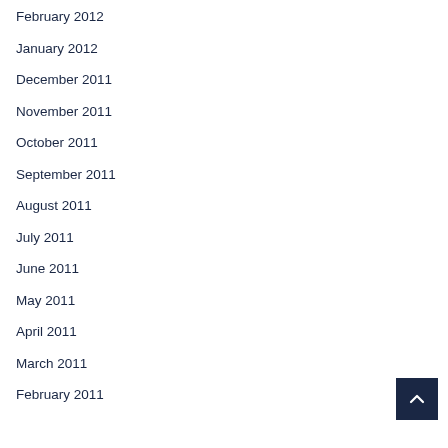February 2012
January 2012
December 2011
November 2011
October 2011
September 2011
August 2011
July 2011
June 2011
May 2011
April 2011
March 2011
February 2011